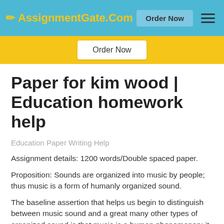AssignmentGate.Com  Order Now
Paper for kim wood | Education homework help
Education Paper Writing Help
Assignment details: 1200 words/Double spaced paper.
Proposition: Sounds are organized into music by people; thus music is a form of humanly organized sound.
The baseline assertion that helps us begin to distinguish between music sound and a great many other types of organized sound is that music is a human phenomenon: it is a form of "humanly organized sound" (Blacking 1973). There is no